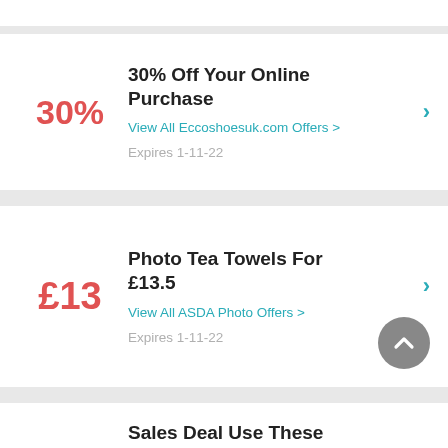30% Off Your Online Purchase
View All Eccoshoesuk.com Offers >
Expires 1-11-22
Photo Tea Towels For £13.5
View All ASDA Photo Offers >
Expires 1-11-22
Sales Deal Use These Discount Coupons From The Best Up To Get Up T…